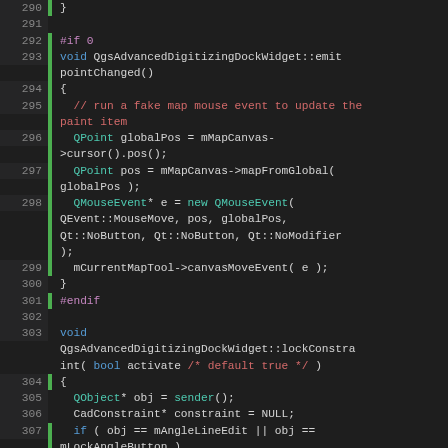[Figure (screenshot): Source code viewer showing C++ code lines 290-312 of QgsAdvancedDigitizingDockWidget with syntax highlighting. Lines include preprocessor directives, void functions, QPoint, QMouseEvent usage, and lockConstraint function definition.]